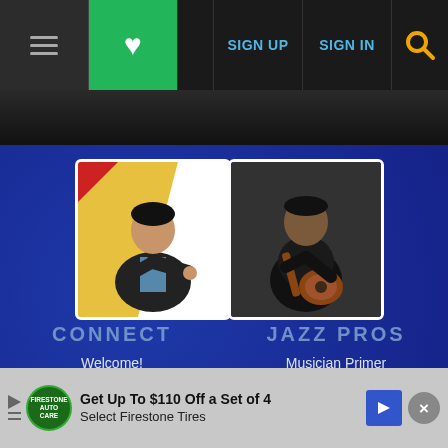[Figure (screenshot): Navigation bar with hamburger menu, green heart button, SIGN UP, SIGN IN in blue, and yellow search icon on dark background]
[Figure (photo): Young man in a leather jacket pointing at the camera, against a yellow and white geometric background]
CONNECT
Welcome!
Getting Started
Staff Directory
Contact Us
[Figure (photo): African American man playing a guitar in a dark setting]
JAZZ PROS
Musician Primer
Musician Toolkit
Gig Finder
Musician Finder
Get Up To $110 Off a Set of 4 Select Firestone Tires